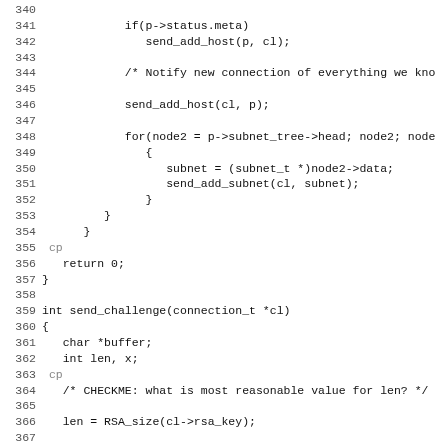[Figure (screenshot): Source code listing showing C code, lines 340-371, including functions for notifying connections and send_challenge]